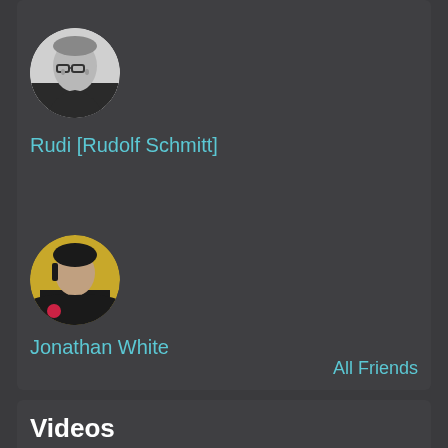[Figure (photo): Circular profile photo of Rudi Rudolf Schmitt, black and white photo of a man with glasses]
Rudi [Rudolf Schmitt]
[Figure (photo): Circular profile photo of Jonathan White, man in dark shirt with yellow background]
Jonathan White
All Friends
Videos